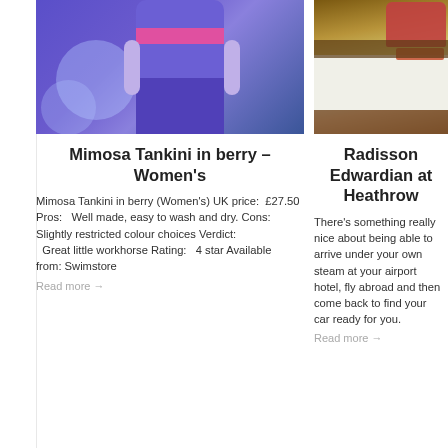[Figure (photo): Woman in purple tankini swimsuit with pink waistband against blue background]
Mimosa Tankini in berry – Women's
Mimosa Tankini in berry (Women's) UK price:  £27.50 Pros:   Well made, easy to wash and dry. Cons:   Slightly restricted colour choices Verdict:   Great little workhorse Rating:   4 star Available from: Swimstore
Read more →
[Figure (photo): Hotel room with white bed and orange/red pillows, dark wood furniture]
Radisson Edwardian at Heathrow
There's something really nice about being able to arrive under your own steam at your airport hotel, fly abroad and then come back to find your car ready for you.
Read more →